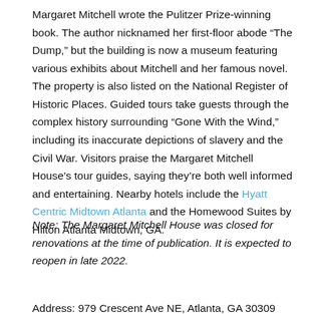Margaret Mitchell wrote the Pulitzer Prize-winning book. The author nicknamed her first-floor abode “The Dump,” but the building is now a museum featuring various exhibits about Mitchell and her famous novel. The property is also listed on the National Register of Historic Places. Guided tours take guests through the complex history surrounding “Gone With the Wind,” including its inaccurate depictions of slavery and the Civil War. Visitors praise the Margaret Mitchell House’s tour guides, saying they’re both well informed and entertaining. Nearby hotels include the Hyatt Centric Midtown Atlanta and the Homewood Suites by Hilton Atlanta Midtown, GA.
Note: The Margaret Mitchell House was closed for renovations at the time of publication. It is expected to reopen in late 2022.
Address: 979 Crescent Ave NE, Atlanta, GA 30309